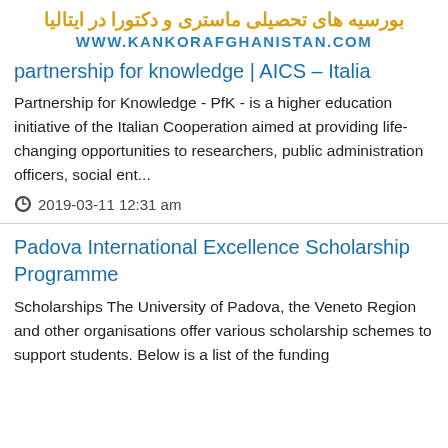[Figure (illustration): Website header with Farsi text and URL www.kankorafghanistan.com]
partnership for knowledge | AICS – Italia
Partnership for Knowledge - PfK - is a higher education initiative of the Italian Cooperation aimed at providing life-changing opportunities to researchers, public administration officers, social ent...
2019-03-11 12:31 am
Padova International Excellence Scholarship Programme
Scholarships The University of Padova, the Veneto Region and other organisations offer various scholarship schemes to support students. Below is a list of the funding